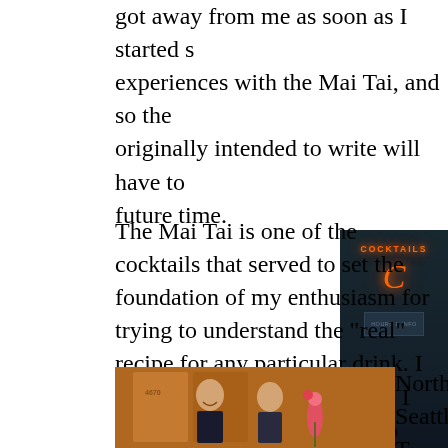got away from me as soon as I started sharing my experiences with the Mai Tai, and so the article I originally intended to write will have to wait for a future time.
The Mai Tai is one of the cocktails that served to set the foundation of my enthusiasm for trying to understand the "real" recipe for any particular drink. I can't remember exactly when I had my first Mai Tai, but I do remember the restaurant whose Mai Tai's made an impression. It was at "Chopsticks", a cozy Chinese restaurant in North Seattle. This was into cocktails... Mai Tai was real... knew much about...
[Figure (photo): Neon sign showing 'COCKTAILS' in orange neon lighting against a dark background, partially visible]
[Figure (photo): Two people (a man and a woman) posing in front of what appears to be artwork or posters, number 4670 visible. The man is smiling, the woman is holding a flower.]